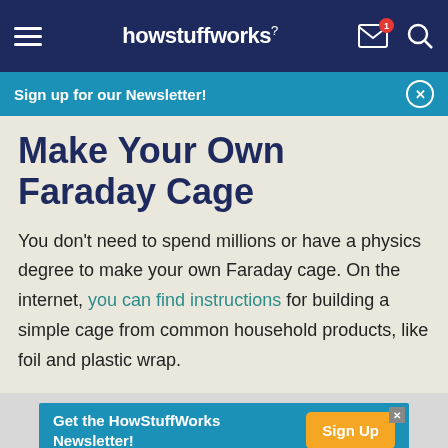howstuffworks
Sign up for our Newsletter!
Make Your Own Faraday Cage
You don't need to spend millions or have a physics degree to make your own Faraday cage. On the internet, you can find instructions for building a simple cage from common household products, like foil and plastic wrap.
Get the HowStuffWorks Newsletter! Sign Up